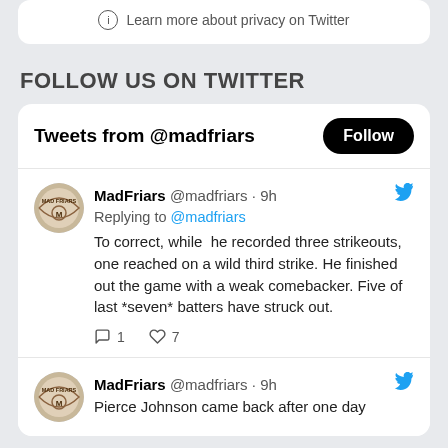Learn more about privacy on Twitter
FOLLOW US ON TWITTER
Tweets from @madfriars
MadFriars @madfriars · 9h
Replying to @madfriars
To correct, while he recorded three strikeouts, one reached on a wild third strike. He finished out the game with a weak comebacker. Five of last *seven* batters have struck out.
1  7
MadFriars @madfriars · 9h
Pierce Johnson came back after one day